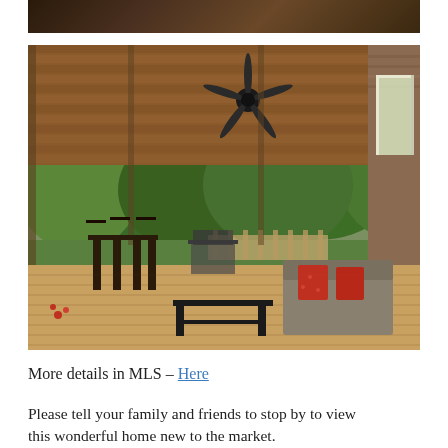[Figure (photo): Partial view of a dark wood ceiling/interior, cropped at top of page]
[Figure (photo): Screened porch or sunroom with wood plank ceiling, ceiling fan, wood deck floor, patio furniture including bar stools and a dark coffee table, sofa with red patterned pillows, and lush green backyard visible through screens]
More details in MLS – Here
Please tell your family and friends to stop by to view this wonderful home new to the market.